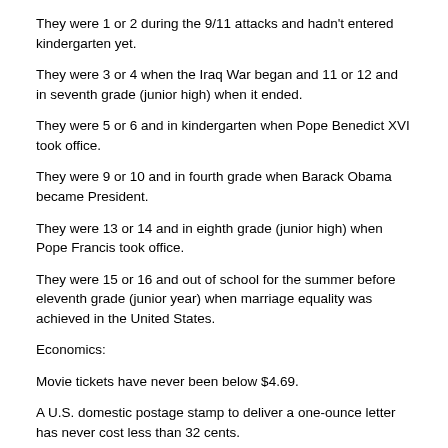They were 1 or 2 during the 9/11 attacks and hadn't entered kindergarten yet.
They were 3 or 4 when the Iraq War began and 11 or 12 and in seventh grade (junior high) when it ended.
They were 5 or 6 and in kindergarten when Pope Benedict XVI took office.
They were 9 or 10 and in fourth grade when Barack Obama became President.
They were 13 or 14 and in eighth grade (junior high) when Pope Francis took office.
They were 15 or 16 and out of school for the summer before eleventh grade (junior year) when marriage equality was achieved in the United States.
Economics:
Movie tickets have never been below $4.69.
A U.S. domestic postage stamp to deliver a one-ounce letter has never cost less than 32 cents.
A standard comic book from DC or Marvel has never cost less than $1.95.
Family: